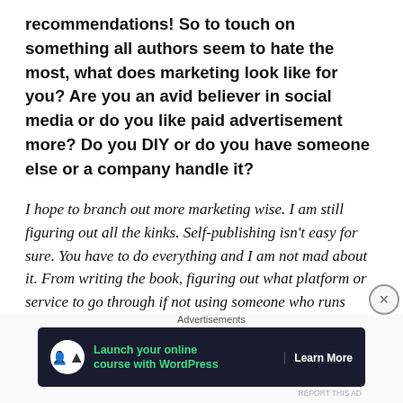recommendations! So to touch on something all authors seem to hate the most, what does marketing look like for you? Are you an avid believer in social media or do you like paid advertisement more? Do you DIY or do you have someone else or a company handle it?
I hope to branch out more marketing wise. I am still figuring out all the kinks. Self-publishing isn't easy for sure. You have to do everything and I am not mad about it. From writing the book, figuring out what platform or service to go through if not using someone who runs their own self-publishing company, promoting your book by whatever means you decide. But it's showing me a deeper
Advertisements
[Figure (other): Dark-themed advertisement banner: circular white icon with a person/tree symbol, green text 'Launch your online course with WordPress', and white 'Learn More' button text on dark navy background.]